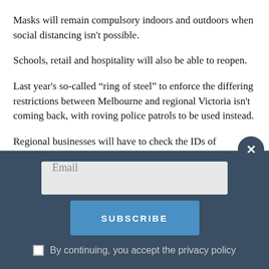Masks will remain compulsory indoors and outdoors when social distancing isn't possible.
Schools, retail and hospitality will also be able to reopen.
Last year's so-called “ring of steel” to enforce the differing restrictions between Melbourne and regional Victoria isn't coming back, with roving police patrols to be used instead.
Regional businesses will have to check the IDs of customers to ensure they're not from Melbourne.
Service Victoria QR code check-ins will become mandatory